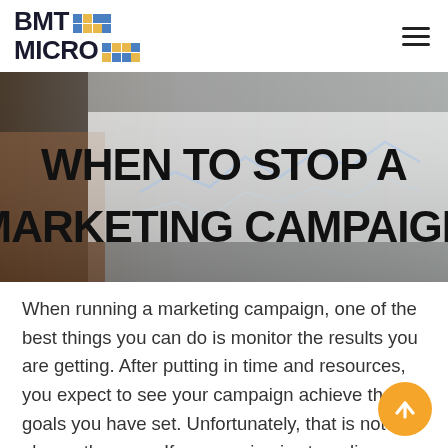[Figure (logo): BMT Micro logo with colorful pixel grid icon]
[Figure (photo): Hero image showing hands holding a tablet displaying charts and graphs, with bold white text overlay reading WHEN TO STOP A MARKETING CAMPAIGN]
When running a marketing campaign, one of the best things you can do is monitor the results you are getting. After putting in time and resources, you expect to see your campaign achieve the goals you have set. Unfortunately, that is not always the case. If a campaign is struggling, sometimes it is best to let go, analyze, and start